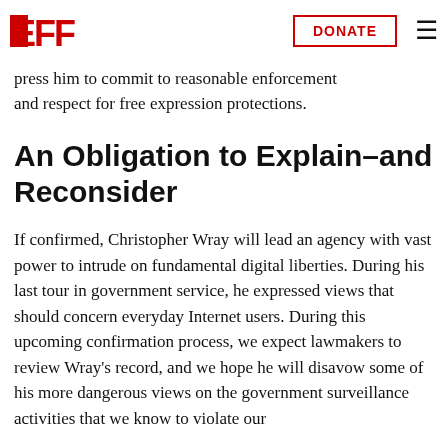EFF | DONATE
abused to chill and de-er speech online, Wray's past re cause for re... lawmakers should press him to commit to reasonable enforcement and respect for free expression protections.
An Obligation to Explain–and Reconsider
If confirmed, Christopher Wray will lead an agency with vast power to intrude on fundamental digital liberties. During his last tour in government service, he expressed views that should concern everyday Internet users. During this upcoming confirmation process, we expect lawmakers to review Wray's record, and we hope he will disavow some of his more dangerous views on the government surveillance activities that we know to violate our